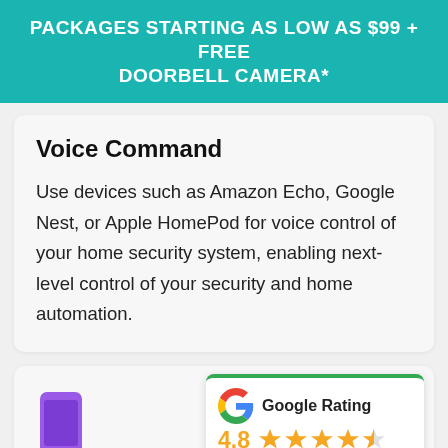PACKAGES STARTING AS LOW AS $99 + FREE DOORBELL CAMERA*
Voice Command
Use devices such as Amazon Echo, Google Nest, or Apple HomePod for voice control of your home security system, enabling next-level control of your security and home automation.
[Figure (logo): Purple smartphone icon]
[Figure (infographic): Google Rating box showing 4.8 stars with Google G logo]
Easy Mobile App